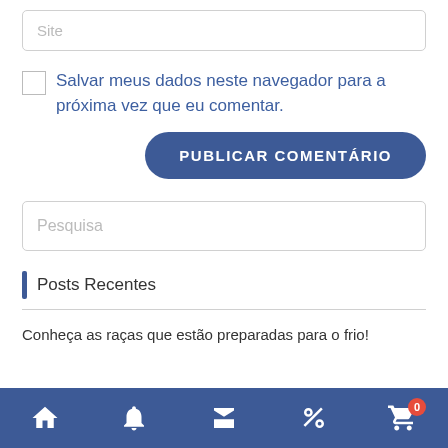Site
Salvar meus dados neste navegador para a próxima vez que eu comentar.
PUBLICAR COMENTÁRIO
Pesquisa
Posts Recentes
Conheça as raças que estão preparadas para o frio!
Home | Notificações | Loja | Desconto | Carrinho (0)